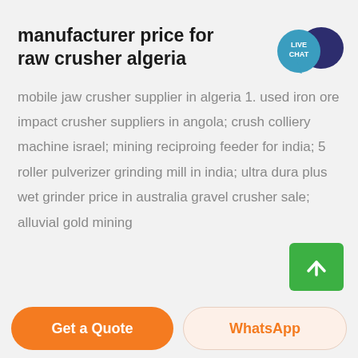manufacturer price for raw crusher algeria
[Figure (illustration): Live Chat speech bubble widget in teal/blue with dark blue chat icon overlay, top right corner]
mobile jaw crusher supplier in algeria 1. used iron ore impact crusher suppliers in angola; crush colliery machine israel; mining reciproing feeder for india; 5 roller pulverizer grinding mill in india; ultra dura plus wet grinder price in australia gravel crusher sale; alluvial gold mining
[Figure (illustration): Green scroll-to-top button with upward arrow, bottom right corner]
Get a Quote
WhatsApp